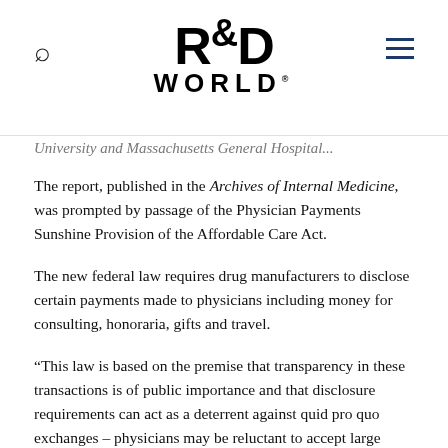R&D WORLD
University and Massachusetts General Hospital...
The report, published in the Archives of Internal Medicine, was prompted by passage of the Physician Payments Sunshine Provision of the Affordable Care Act.
The new federal law requires drug manufacturers to disclose certain payments made to physicians including money for consulting, honoraria, gifts and travel.
“This law is based on the premise that transparency in these transactions is of public importance and that disclosure requirements can act as a deterrent against quid pro quo exchanges – physicians may be reluctant to accept large payments from pharmaceutical firms if payments are publicly known and perceived as financial compensation for prescribing